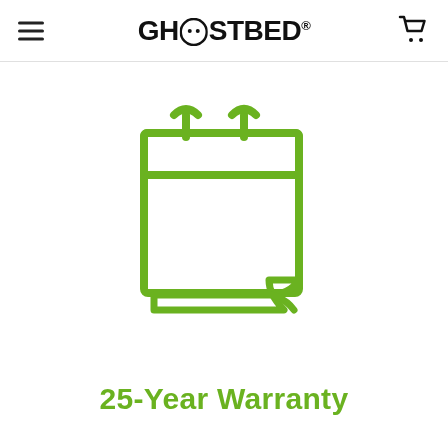GhostBed®
[Figure (illustration): Green outline icon of a calendar/warranty document with a page curling at the bottom right corner]
25-Year Warranty